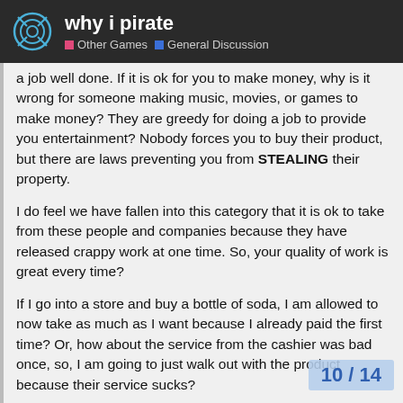why i pirate | Other Games | General Discussion
a job well done. If it is ok for you to make money, why is it wrong for someone making music, movies, or games to make money? They are greedy for doing a job to provide you entertainment? Nobody forces you to buy their product, but there are laws preventing you from STEALING their property.
I do feel we have fallen into this category that it is ok to take from these people and companies because they have released crappy work at one time. So, your quality of work is great every time?
If I go into a store and buy a bottle of soda, I am allowed to now take as much as I want because I already paid the first time? Or, how about the service from the cashier was bad once, so, I am going to just walk out with the product because their service sucks?
Everyone I hear discuss piracy complains about how much the people they are pirating from make, so what? Really, I do not care how much